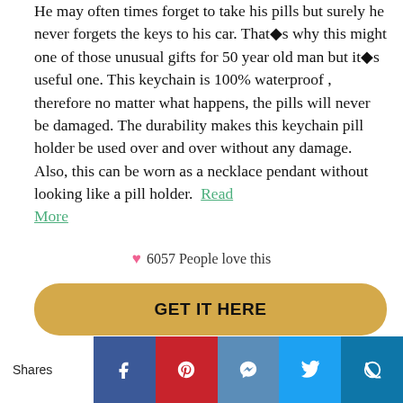He may often times forget to take his pills but surely he never forgets the keys to his car. That●s why this might one of those unusual gifts for 50 year old man but it●s useful one. This keychain is 100% waterproof , therefore no matter what happens, the pills will never be damaged. The durability makes this keychain pill holder be used over and over without any damage. Also, this can be worn as a necklace pendant without looking like a pill holder. Read More
6057 People love this
GET IT HERE
Shares [Facebook] [Pinterest] [Messenger] [Twitter] [Other]